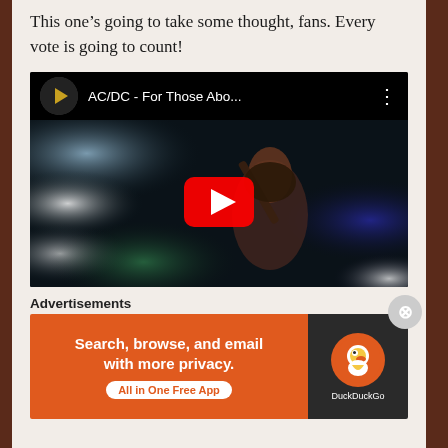This one’s going to take some thought, fans. Every vote is going to count!
[Figure (screenshot): YouTube video embed showing AC/DC - For Those Abo... with a concert photo of a guitarist on stage with stage lighting and a red YouTube play button overlay]
Advertisements
[Figure (screenshot): DuckDuckGo advertisement banner: orange left side with text 'Search, browse, and email with more privacy. All in One Free App' and dark right side with DuckDuckGo logo]